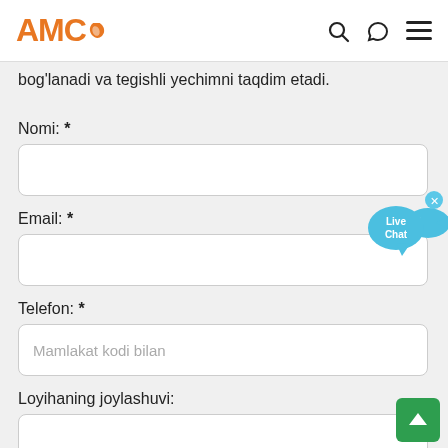AMC
bog'lanadi va tegishli yechimni taqdim etadi.
Nomi: *
Email: *
Telefon: *
Mamlakat kodi bilan
Loyihaning joylashuvi: